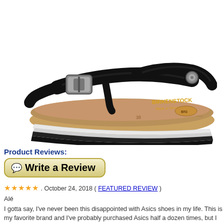[Figure (photo): Black Birkenstock thong sandal with patent leather straps, buckle closure, and cork footbed with rubber sole, photographed on white background]
Product Reviews:
[Figure (other): Write a Review button with chat icon, styled with golden/tan gradient background and rounded border]
★★★★★ . October 24, 2018 ( FEATURED REVIEW )
Alé
I gotta say, I've never been this disappointed with Asics shoes in my life. This is my favorite brand and I've probably purchased Asics half a dozen times, but I will never buy this model again. The shoes are extremely uncomfortable. They irritate my feet when I exercise and leave my feet on the verge of blisters. It's so bad that I can't